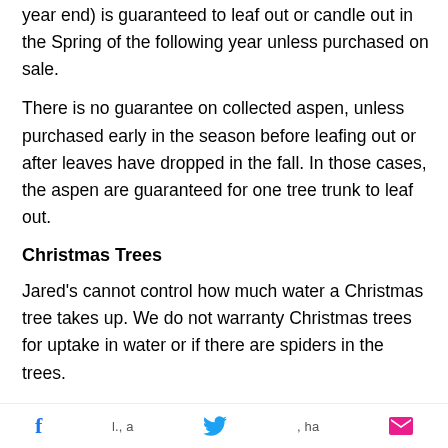year end) is guaranteed to leaf out or candle out in the Spring of the following year unless purchased on sale.
There is no guarantee on collected aspen, unless purchased early in the season before leafing out or after leaves have dropped in the fall. In those cases, the aspen are guaranteed for one tree trunk to leaf out.
Christmas Trees
Jared's cannot control how much water a Christmas tree takes up. We do not warranty Christmas trees for uptake in water or if there are spiders in the trees.
No guarantee on:
Social sharing icons: Facebook, Twitter, Email